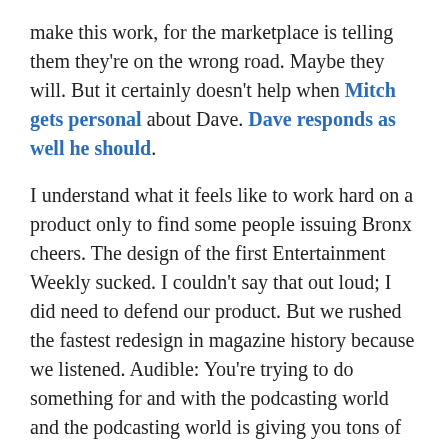make this work, for the marketplace is telling them they're on the wrong road. Maybe they will. But it certainly doesn't help when Mitch gets personal about Dave. Dave responds as well he should.
I understand what it feels like to work hard on a product only to find some people issuing Bronx cheers. The design of the first Entertainment Weekly sucked. I couldn't say that out loud; I did need to defend our product. But we rushed the fastest redesign in magazine history because we listened. Audible: You're trying to do something for and with the podcasting world and the podcasting world is giving you tons of good advice. Listen first. Turn off the microphone and leave your headset on.
: Doc also here and here and Mitch comes back here. The personal stuff is only noise.
: LATER: Ben Barren does a great analysis of Audible's 3-cents per price for measuring each listen of each podcast. I